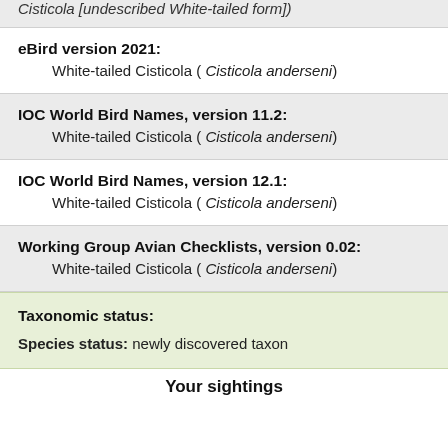Cisticola [undescribed White-tailed form])
eBird version 2021:
White-tailed Cisticola ( Cisticola anderseni)
IOC World Bird Names, version 11.2:
White-tailed Cisticola ( Cisticola anderseni)
IOC World Bird Names, version 12.1:
White-tailed Cisticola ( Cisticola anderseni)
Working Group Avian Checklists, version 0.02:
White-tailed Cisticola ( Cisticola anderseni)
Taxonomic status:
Species status: newly discovered taxon
Your sightings